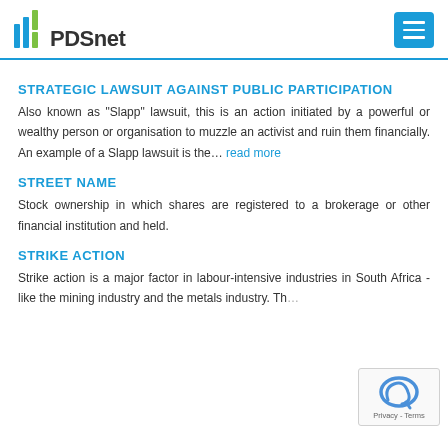PDSnet
STRATEGIC LAWSUIT AGAINST PUBLIC PARTICIPATION
Also known as "Slapp" lawsuit, this is an action initiated by a powerful or wealthy person or organisation to muzzle an activist and ruin them financially. An example of a Slapp lawsuit is the… read more
STREET NAME
Stock ownership in which shares are registered to a brokerage or other financial institution and held.
STRIKE ACTION
Strike action is a major factor in labour-intensive industries in South Africa - like the mining industry and the metals industry. Th...